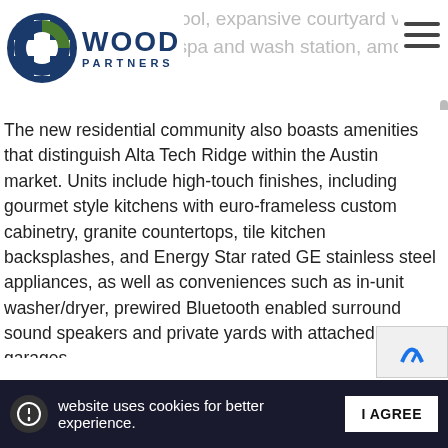Wood Partners — site header with logo and navigation
style pool, expansive courtyard … pool, pet-friendly spa and wash station, among oth…
The new residential community also boasts amenities that distinguish Alta Tech Ridge within the Austin market. Units include high-touch finishes, including gourmet style kitchens with euro-frameless custom cabinetry, granite countertops, tile kitchen backsplashes, and Energy Star rated GE stainless steel appliances, as well as conveniences such as in-unit washer/dryer, prewired Bluetooth enabled surround sound speakers and private yards with attached garages.
Alta Tech Ridge opened in January 2019, and totals 230 units, featuring 1-, 2-, and 3-bedroom units averaging 850-square-feet.
This website uses cookies for better experience. I AGREE